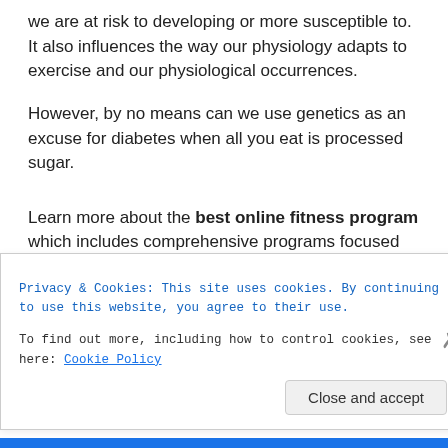we are at risk to developing or more susceptible to. It also influences the way our physiology adapts to exercise and our physiological occurrences.
However, by no means can we use genetics as an excuse for diabetes when all you eat is processed sugar.
Learn more about the best online fitness program which includes comprehensive programs focused on shifting towards healthier eating habits
Privacy & Cookies: This site uses cookies. By continuing to use this website, you agree to their use.
To find out more, including how to control cookies, see here: Cookie Policy
Close and accept